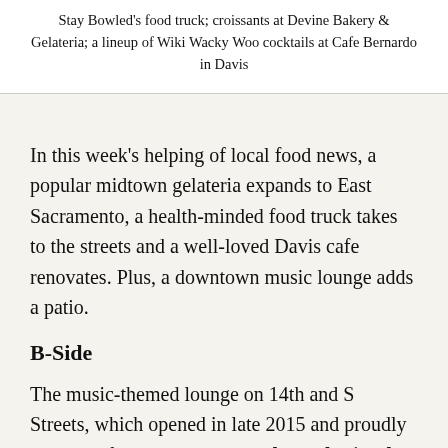Stay Bowled's food truck; croissants at Devine Bakery & Gelateria; a lineup of Wiki Wacky Woo cocktails at Cafe Bernardo in Davis
In this week's helping of local food news, a popular midtown gelateria expands to East Sacramento, a health-minded food truck takes to the streets and a well-loved Davis cafe renovates. Plus, a downtown music lounge adds a patio.
B-Side
The music-themed lounge on 14th and S Streets, which opened in late 2015 and proudly touts itself as a local dive bar, has submitted an application to the city proposing an expansion to include a patio and a second